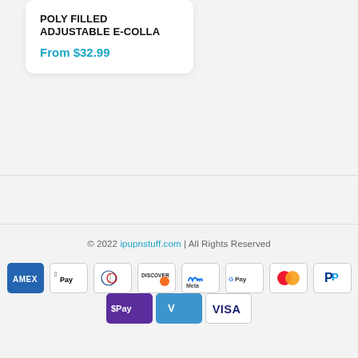POLY FILLED ADJUSTABLE E-COLLA
From $32.99
© 2022 ipupnstuff.com | All Rights Reserved
[Figure (infographic): Payment method icons: American Express, Apple Pay, Diners Club, Discover, Meta Pay, Google Pay, Mastercard, PayPal, O Pay, Venmo, Visa]